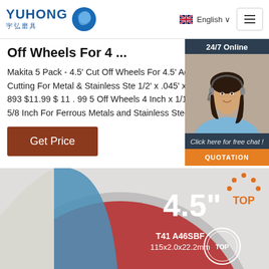YUHONG 宇弘磨具 | English
Off Wheels For 4 ...
Makita 5 Pack - 4.5' Cut Off Wheels For 4.5' Aggressive Cutting For Metal & Stainless Ste 1/2' x .045' x 7/8-Inch 893 $11.99 $ 11 . 99 5 Off Wheels 4 Inch x 1/16 Inch x 5/8 Inch For Ferrous Metals and Stainless Steel. 94
Get Price
[Figure (photo): Customer service representative with headset, 24/7 Online chat widget with QUOTATION button]
[Figure (photo): Cut-off grinding wheel showing 4.5 inch size, T41 A46SBF specification, 115x2.0x22.2mm dimensions, with TOP label and certification logo]